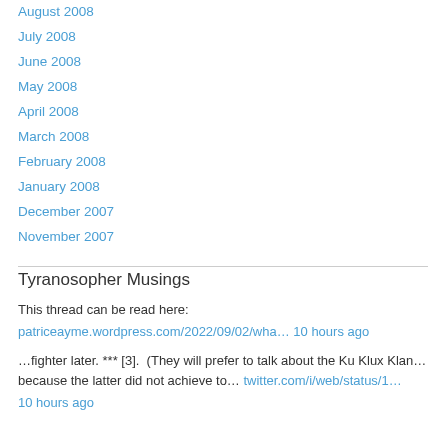August 2008
July 2008
June 2008
May 2008
April 2008
March 2008
February 2008
January 2008
December 2007
November 2007
Tyranosopher Musings
This thread can be read here:
patriceayme.wordpress.com/2022/09/02/wha… 10 hours ago
…fighter later. *** [3].  (They will prefer to talk about the Ku Klux Klan… because the latter did not achieve to… twitter.com/i/web/status/1… 10 hours ago